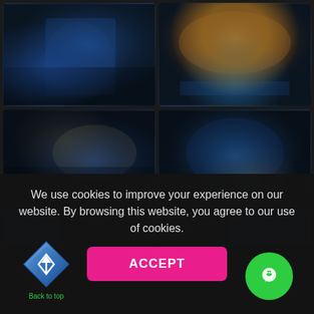[Figure (photo): Grid of four photos showing a figure in blue lingerie in dark/moody lighting]
[Figure (photo): Partial row of two additional photos, partially visible at bottom of grid]
We use cookies to improve your experience on our website. By browsing this website, you agree to our use of cookies.
[Figure (other): Diamond-shaped blue back-to-top button with upward arrow and 'Back to top' label]
[Figure (other): Pink ACCEPT button]
[Figure (other): Green circular chat button]